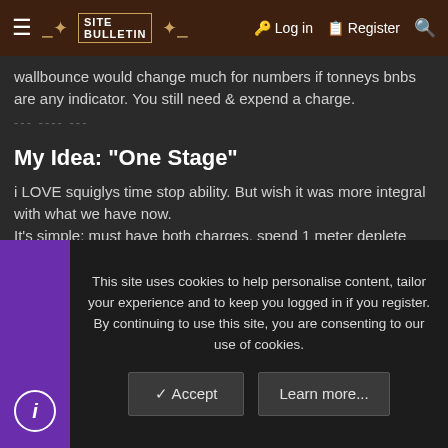≡ [SITE LOGO] Log in  Register 🔍
wallbounce would change much for numbers if tonneys bnbs are any indicator. You still need & expend a charge.
--- ---- ---
My Idea: "One Stage"
i LOVE squiglys time stop ability. But wish it was more integral with what we have now.
It's simple: must have both charges. spend 1 meter deplete both charges, hold mp+hp during hitstop for a dedicated centerstage super. if not blocking (as usual), opponent is frozen & squigly has 6 seconds to do what she wants (not a lot of time as shown in video & both charges depleted. might have to run/jump to opponent as well as charge up again). Any inertia in opponent is stored, starting up after super ends (in video). Can literally do anything long as it fits into the 6 seconds, DHC/tag to another character even. the time stop itself becomes a free combo stage, though IPS still works
This site uses cookies to help personalise content, tailor your experience and to keep you logged in if you register.
By continuing to use this site, you are consenting to our use of cookies.
✓ Accept    Learn more...